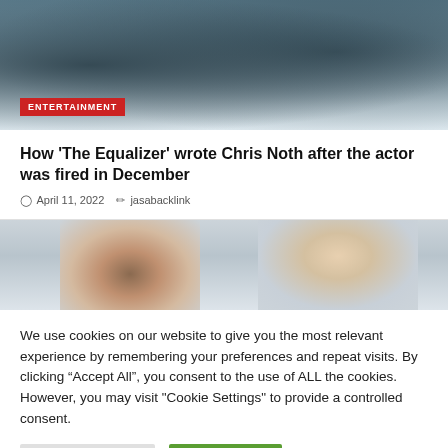[Figure (photo): Two people standing outdoors, partially cropped, with an ENTERTAINMENT badge overlay in the lower left]
How 'The Equalizer' wrote Chris Noth after the actor was fired in December
April 11, 2022   jasabacklink
[Figure (photo): Two women outdoors, one with dark hair on the left, one with blonde hair on the right, against a light sky background]
We use cookies on our website to give you the most relevant experience by remembering your preferences and repeat visits. By clicking "Accept All", you consent to the use of ALL the cookies. However, you may visit "Cookie Settings" to provide a controlled consent.